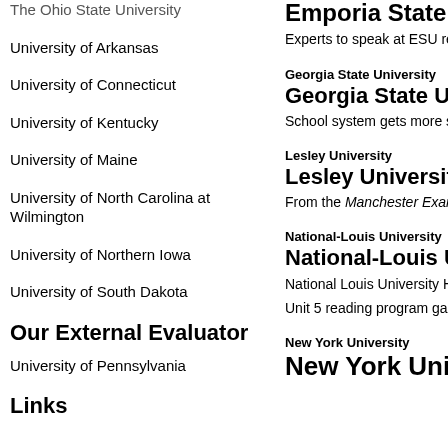The Ohio State University
University of Arkansas
University of Connecticut
University of Kentucky
University of Maine
University of North Carolina at Wilmington
University of Northern Iowa
University of South Dakota
Our External Evaluator
University of Pennsylvania
Links
Emporia State University
Experts to speak at ESU reading c
Georgia State University
Georgia State University
School system gets more state me
Lesley University
Lesley University
From the Manchester Examiner: "
National-Louis University
National-Louis University
National Louis University Hosts C
Unit 5 reading program gains dra
New York University
New York University